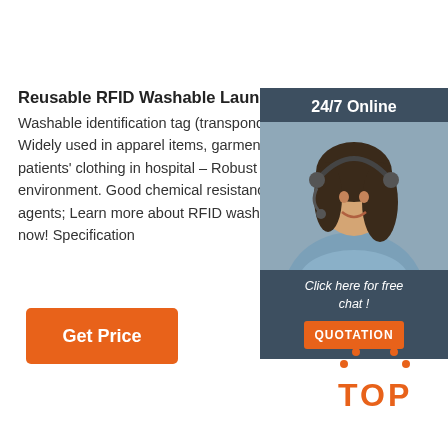Reusable RFID Washable Laundry Tags For Laundries
Washable identification tag (transponder) for garments. Widely used in apparel items, garments, costumes, patients' clothing in hospital – Robust design for harsh environment. Good chemical resistance, withstand cleaning agents; Learn more about RFID washable laundry tags now! Specification
[Figure (other): Orange 'Get Price' button]
[Figure (other): Customer service chat widget with '24/7 Online' header, photo of smiling woman with headset, 'Click here for free chat!' text and orange QUOTATION button]
[Figure (logo): Orange TOP logo with dot pattern above letters TOP in orange]